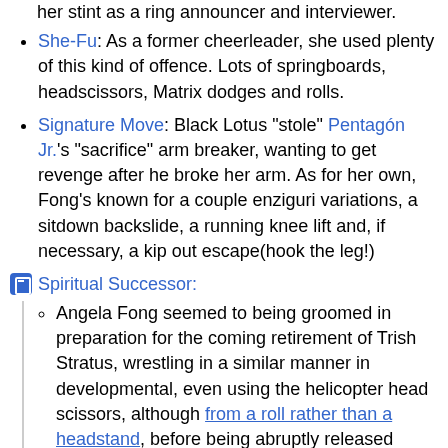her stint as a ring announcer and interviewer.
She-Fu: As a former cheerleader, she used plenty of this kind of offence. Lots of springboards, headscissors, Matrix dodges and rolls.
Signature Move: Black Lotus "stole" Pentagón Jr.'s "sacrifice" arm breaker, wanting to get revenge after he broke her arm. As for her own, Fong's known for a couple enziguri variations, a sitdown backslide, a running knee lift and, if necessary, a kip out escape(hook the leg!)
Spiritual Successor:
Angela Fong seemed to being groomed in preparation for the coming retirement of Trish Stratus, wrestling in a similar manner in developmental, even using the helicopter head scissors, although from a roll rather than a headstand, before being abruptly released without fanfare.
Naomi is considered one to Angela, considering their careers have a lot of parallels. Both come from athletic